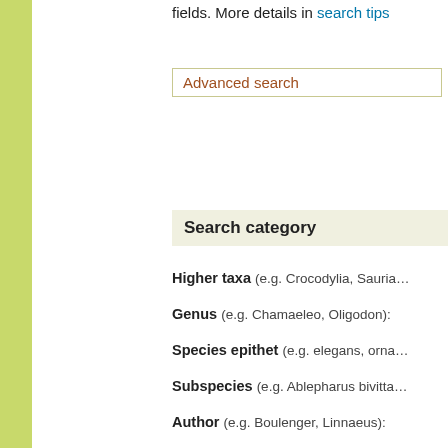fields. More details in search tips
Advanced search
Search category
Higher taxa (e.g. Crocodylia, Sauria…
Genus (e.g. Chamaeleo, Oligodon):
Species epithet (e.g. elegans, orna…
Subspecies (e.g. Ablepharus bivitta…
Author (e.g. Boulenger, Linnaeus):
Year (e.g. 2006):
Common name or synonym (e.g.…
Distribution (e.g. Madagascar, Flori…
Types (e.g. USNM 6769):
Reference (author or title keyword):